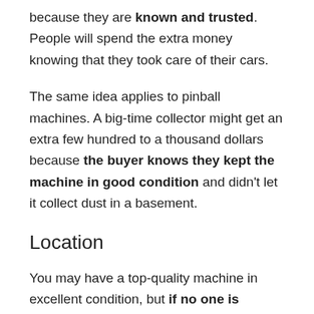because they are known and trusted. People will spend the extra money knowing that they took care of their cars.
The same idea applies to pinball machines. A big-time collector might get an extra few hundred to a thousand dollars because the buyer knows they kept the machine in good condition and didn't let it collect dust in a basement.
Location
You may have a top-quality machine in excellent condition, but if no one is around you that knows its value, you may not receive your asking price.